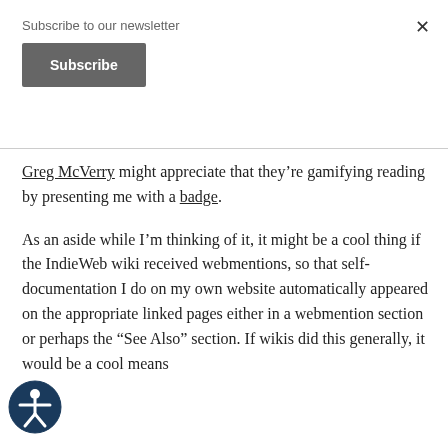Subscribe to our newsletter
Subscribe
Greg McVerry might appreciate that they’re gamifying reading by presenting me with a badge.
As an aside while I’m thinking of it, it might be a cool thing if the IndieWeb wiki received webmentions, so that self-documentation I do on my own website automatically appeared on the appropriate linked pages either in a webmention section or perhaps the “See Also” section. If wikis did this generally, it would be a cool means